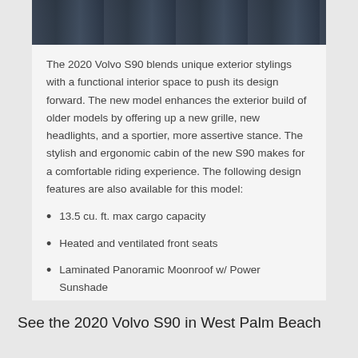[Figure (photo): Partial view of the front of a 2020 Volvo S90 car against a dark background, showing the upper grille and hood area.]
The 2020 Volvo S90 blends unique exterior stylings with a functional interior space to push its design forward. The new model enhances the exterior build of older models by offering up a new grille, new headlights, and a sportier, more assertive stance. The stylish and ergonomic cabin of the new S90 makes for a comfortable riding experience. The following design features are also available for this model:
13.5 cu. ft. max cargo capacity
Heated and ventilated front seats
Laminated Panoramic Moonroof w/ Power Sunshade
See the 2020 Volvo S90 in West Palm Beach